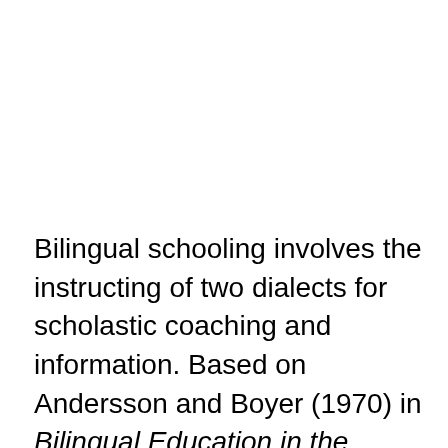Bilingual schooling involves the instructing of two dialects for scholastic coaching and information. Based on Andersson and Boyer (1970) in Bilingual Education in the states, “Bilingual education is training by two languages and using the two different languages as sources of instructions for almost